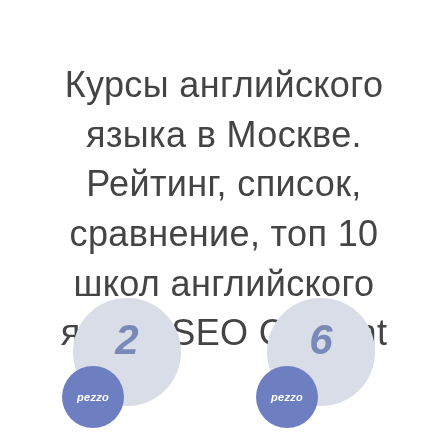Курсы английского языка в Москве. Рейтинг, список, сравнение, топ 10 школ английского языка SEO Content
[Figure (infographic): Two bubble/circle groups at the bottom of the page. Left group: large light blue-grey circle with number '2' in italic blue, overlapped by a smaller dark blue circle with 'pezzo' text. Right group: same design but with number '6'.]